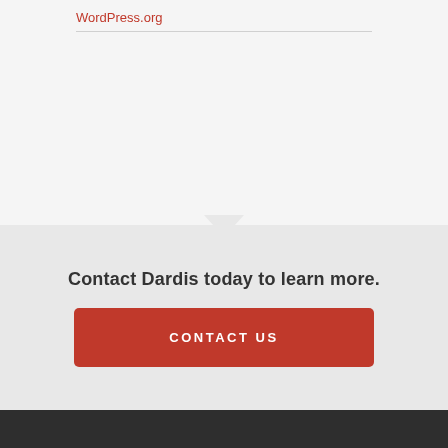WordPress.org
Contact Dardis today to learn more.
CONTACT US
OUR MISSION
To connect the most talented and diverse young professionals with best-in-class organizations through